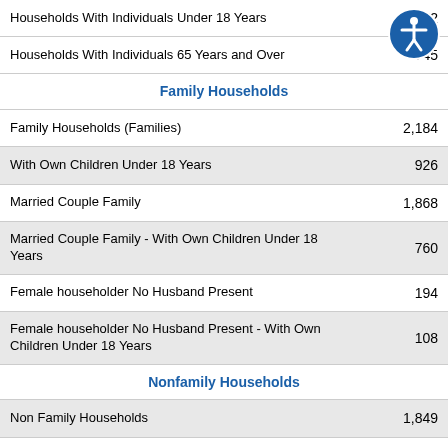| Category | Value |
| --- | --- |
| Households With Individuals Under 18 Years | 952 |
| Households With Individuals 65 Years and Over | 745 |
| Family Households |  |
| Family Households (Families) | 2,184 |
| With Own Children Under 18 Years | 926 |
| Married Couple Family | 1,868 |
| Married Couple Family - With Own Children Under 18 Years | 760 |
| Female householder No Husband Present | 194 |
| Female householder No Husband Present - With Own Children Under 18 Years | 108 |
| Nonfamily Households |  |
| Non Family Households | 1,849 |